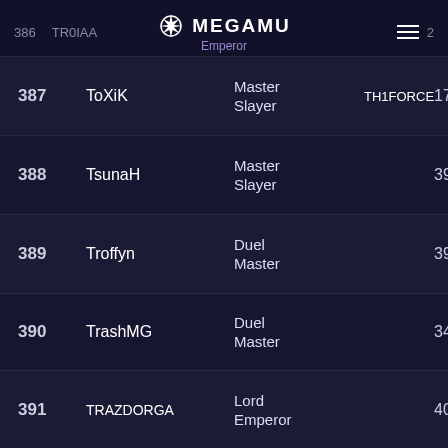386 TR0IAA MEGAMU Emperor 2...
| Rank | Name | Class | Guild | Level |
| --- | --- | --- | --- | --- |
| 387 | ToXiK | Master Slayer | TH1FORCE | 17+3 |
| 388 | TsunaH | Master Slayer |  | 391+ |
| 389 | Troffyn | Duel Master |  | 392+ |
| 390 | TrashMG | Duel Master |  | 349+ |
| 391 | TRAZDORGA | Lord Emperor |  | 400+ |
| 392 | Travadinho [ON] | Grand Master |  | 400+ |
| 393 | Tips | Grand Rune |  | 400+ |